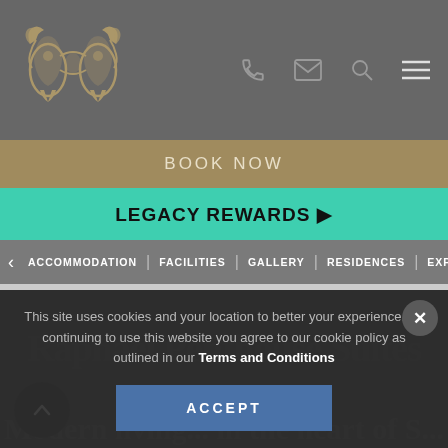[Figure (logo): Decorative logo emblem in gold/tan color on dark grey background showing stylized animal/crest design]
BOOK NOW
LEGACY REWARDS ▶
ACCOMMODATION | FACILITIES | GALLERY | RESIDENCES | EXPERIENC
This site uses cookies and your location to better your experience. By continuing to use this website you agree to our cookie policy as outlined in our Terms and Conditions
ACCEPT
Raphael Penthouse Suites
Modern living in the heart of Sandton